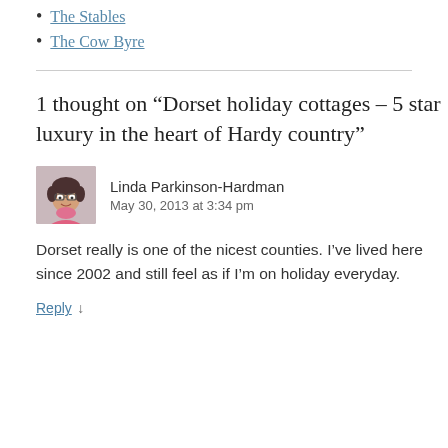The Stables
The Cow Byre
1 thought on “Dorset holiday cottages – 5 star luxury in the heart of Hardy country”
Linda Parkinson-Hardman
May 30, 2013 at 3:34 pm
Dorset really is one of the nicest counties. I’ve lived here since 2002 and still feel as if I’m on holiday everyday.
Reply ↓